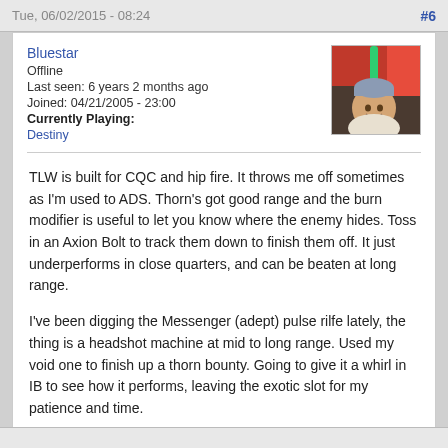Tue, 06/02/2015 - 08:24	#6
Bluestar
Offline
Last seen: 6 years 2 months ago
Joined: 04/21/2005 - 23:00
Currently Playing:
Destiny
[Figure (photo): Avatar photo of a baby smiling, holding a green toy, in what appears to be a stroller or car seat with colorful background.]
TLW is built for CQC and hip fire.  It throws me off sometimes as I'm used to ADS.  Thorn's got good range and the burn modifier is useful to let you know where the enemy hides.  Toss in an Axion Bolt to track them down to finish them off.  It just underperforms in close quarters, and can be beaten at long range.
I've been digging the Messenger (adept) pulse rilfe lately, the thing is a headshot machine at mid to long range.  Used my void one to finish up a thorn bounty.  Going to give it a whirl in IB to see how it performs, leaving the exotic slot for my patience and time.